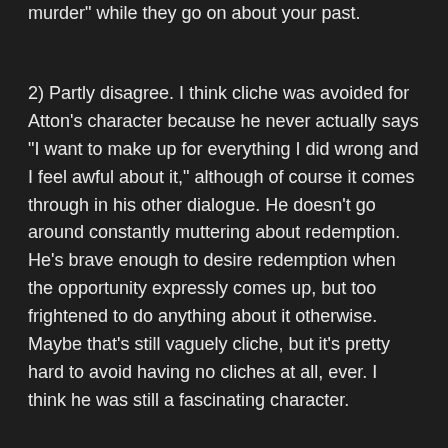murder" while they go on about your past.
2) Partly disagree. I think cliche was avoided for Atton's character because he never actually says "I want to make up for everything I did wrong and I feel awful about it," although of course it comes through in his other dialogue. He doesn't go around constantly muttering about redemption. He's brave enough to desire redemption when the opportunity expressly comes up, but too frightened to do anything about it otherwise. Maybe that's still vaguely cliche, but it's pretty hard to avoid having no cliches at all, ever. I think he was still a fascinating character.